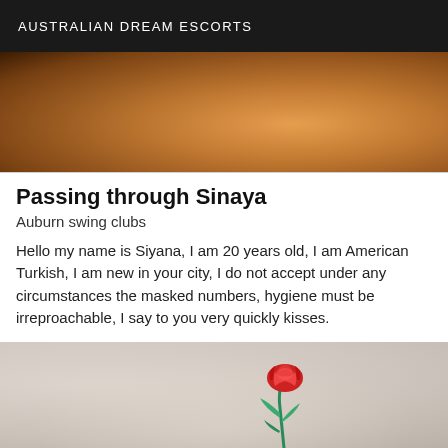AUSTRALIAN DREAM ESCORTS
[Figure (photo): Partial photo showing warm-toned background, cropped image at top of listing card]
Passing through Sinaya
Auburn swing clubs
Hello my name is Siyana, I am 20 years old, I am American Turkish, I am new in your city, I do not accept under any circumstances the masked numbers, hygiene must be irreproachable, I say to you very quickly kisses.
[Figure (photo): Photo of a blonde woman reclining on floral fabric, with a red rose and green leaves graphic overlaid on her face/neck area]